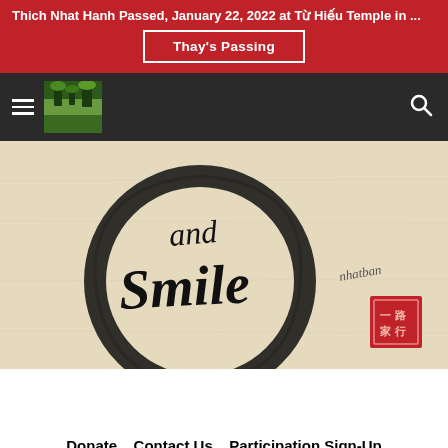Thich Nhat Hanh Passed, January 22, 2022 at Từ Hiếu Temple in ...
Thay's Passing
[Figure (screenshot): Website navigation bar with hamburger menu icon, a small nature/forest logo image, and a search icon on the right, on dark background]
[Figure (illustration): Calligraphy artwork on textured paper showing the words 'and smile' written in bold brushstroke lettering inside a circular enso-style brush circle, with a small red seal stamp in the lower right corner signed by Thich Nhat Hanh]
Donate   Contact Us   Participation Sign-Up